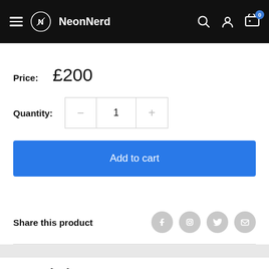NeonNerd
Price: £200
Quantity: 1
Add to cart
Share this product
Description